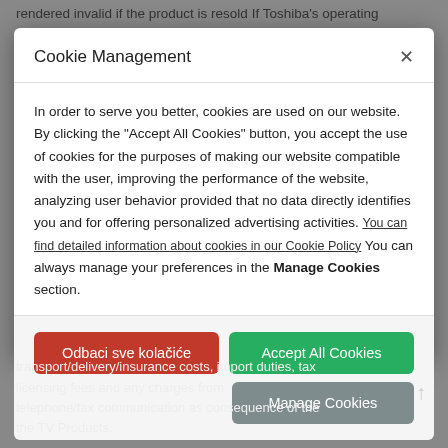rendered invalid if the product is resold If Toshiba's operating
Cookie Management
In order to serve you better, cookies are used on our website. By clicking the "Accept All Cookies" button, you accept the use of cookies for the purposes of making our website compatible with the user, improving the performance of the website, analyzing user behavior provided that no data directly identifies you and for offering personalized advertising activities. You can find detailed information about cookies in our Cookie Policy You can always manage your preferences in the Manage Cookies section.
transport/delivery/insurance costs, import duties, tax licensing fees and any charges from telephone/fax communication as consequence of the the TV Products.